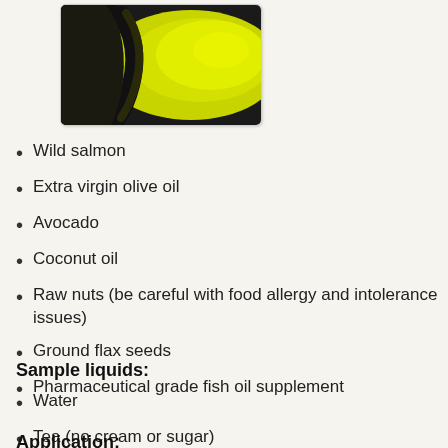[Figure (photo): Close-up photo of olive oil being poured, with yellow-green oil visible against a dark background]
Wild salmon
Extra virgin olive oil
Avocado
Coconut oil
Raw nuts (be careful with food allergy and intolerance issues)
Ground flax seeds
Pharmaceutical grade fish oil supplement
Sample liquids:
Water
Tea (no cream or sugar)
Application: